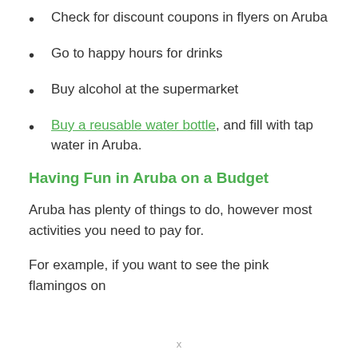Check for discount coupons in flyers on Aruba
Go to happy hours for drinks
Buy alcohol at the supermarket
Buy a reusable water bottle, and fill with tap water in Aruba.
Having Fun in Aruba on a Budget
Aruba has plenty of things to do, however most activities you need to pay for.
For example, if you want to see the pink flamingos on
x